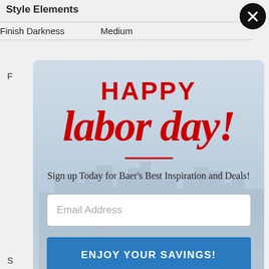Style Elements
Finish Darkness	Medium
[Figure (screenshot): Labor Day promotional popup modal with city skyline background. Contains 'HAPPY' in bold red uppercase, 'labor day!' in large red italic script, a red horizontal rule, text 'Sign up Today for Baer's Best Inspiration and Deals!', an email address input field, a blue 'ENJOY YOUR SAVINGS!' button, and a 'NO THANKS' text link.]